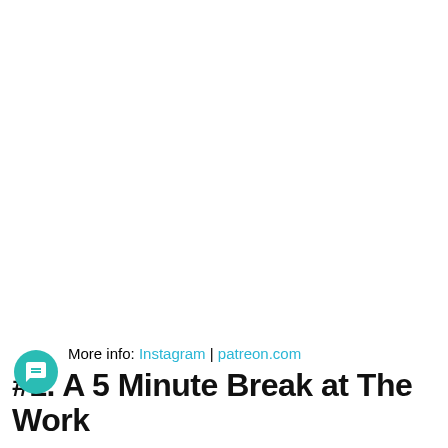More info: Instagram | patreon.com
#1. A 5 Minute Break at The Work